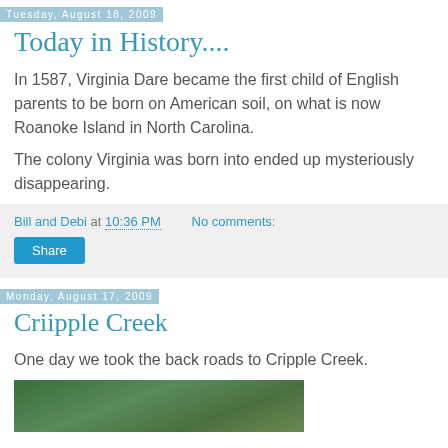Tuesday, August 18, 2009
Today in History....
In 1587, Virginia Dare became the first child of English parents to be born on American soil, on what is now Roanoke Island in North Carolina.
The colony Virginia was born into ended up mysteriously disappearing.
Bill and Debi at 10:36 PM   No comments:
Monday, August 17, 2009
Criipple Creek
One day we took the back roads to Cripple Creek.
[Figure (photo): Outdoor nature/road photo, green trees visible]